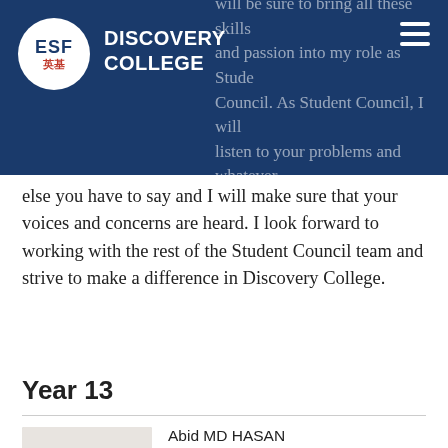ESF Discovery College
will be sure to bring all these skills and passion into my role as Student Council. As Student Council, I will listen to your problems and whatever else you have to say and I will make sure that your voices and concerns are heard. I look forward to working with the rest of the Student Council team and strive to make a difference in Discovery College.
Year 13
Abid MD HASAN
I am honoured to be elected as the Student Council for Year 13. Over the years I have had the privilege to work